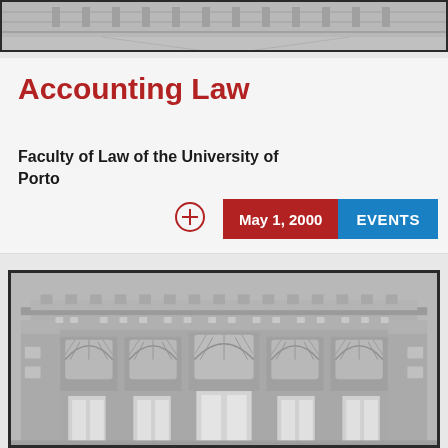[Figure (illustration): Top partial image strip showing a gray architectural illustration at the very top of the page]
Accounting Law
Faculty of Law of the University of Porto
May 1, 2000  EVENTS
[Figure (illustration): Architectural illustration of a classical building facade (Faculty of Law of the University of Porto) rendered in gray tones with arched windows and detailed cornices, framed by a thick dark border]